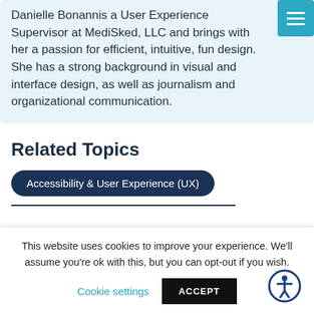Danielle Bonannis a User Experience Supervisor at MediSked, LLC and brings with her a passion for efficient, intuitive, fun design. She has a strong background in visual and interface design, as well as journalism and organizational communication.
Related Topics
Accessibility & User Experience (UX)
This website uses cookies to improve your experience. We'll assume you're ok with this, but you can opt-out if you wish.
Cookie settings   ACCEPT